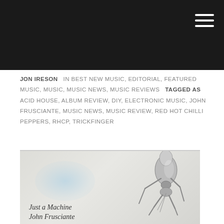Navigation header with hamburger menu
JON IRESON  IN BEST NEW MUSIC, EDITORIAL, FEATURED MUSIC, MUSIC, MUSIC NEWS, MUSIC REVIEWS  TAGGED AS ACID HOUSE, ALBUM REVIEW, DIY, ELECTRONIC MUSIC, JOHN FRUSCIANTE, MUSIC NEWS, MUSIC REVIEW, RED HOT CHILLI PEPPERS, RHCP, TRICKFINGER
[Figure (illustration): Album cover illustration showing a mechanical robot/insect figure bending over, with a blue watercolor splash in the background. Handwritten cursive text reads 'Just a Machine / John Frusciante' at the bottom left.]